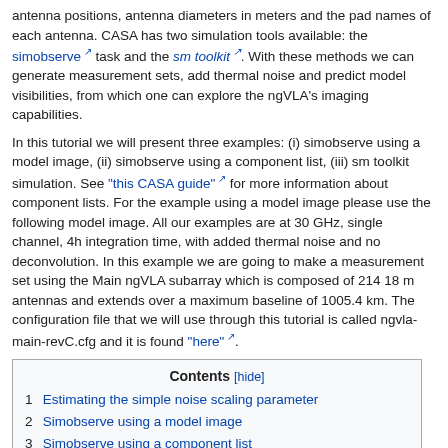antenna positions, antenna diameters in meters and the pad names of each antenna. CASA has two simulation tools available: the simobserve task and the sm toolkit. With these methods we can generate measurement sets, add thermal noise and predict model visibilities, from which one can explore the ngVLA's imaging capabilities.
In this tutorial we will present three examples: (i) simobserve using a model image, (ii) simobserve using a component list, (iii) sm toolkit simulation. See "this CASA guide" for more information about component lists. For the example using a model image please use the following model image. All our examples are at 30 GHz, single channel, 4h integration time, with added thermal noise and no deconvolution. In this example we are going to make a measurement set using the Main ngVLA subarray which is composed of 214 18 m antennas and extends over a maximum baseline of 1005.4 km. The configuration file that we will use through this tutorial is called ngvla-main-revC.cfg and it is found "here".
| Contents [hide] |
| 1 Estimating the simple noise scaling parameter |
| 2 Simobserve using a model image |
| 3 Simobserve using a component list |
| 4 sm toolkit using either a model image or a component list |
| 5 Q-band, 128MHz bandwidth, noiseless image, 1h integration time, A-configuration, no deconvolution |